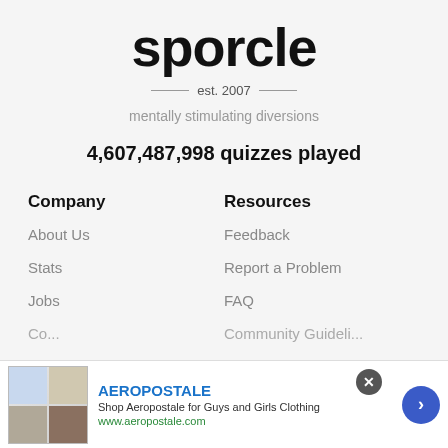sporcle
est. 2007
mentally stimulating diversions
4,607,487,998 quizzes played
Company
Resources
About Us
Feedback
Stats
Report a Problem
Jobs
FAQ
[Figure (infographic): Advertisement banner for Aeropostale showing clothing images, brand name, description 'Shop Aeropostale for Guys and Girls Clothing', URL www.aeropostale.com, close button, and navigation arrow]